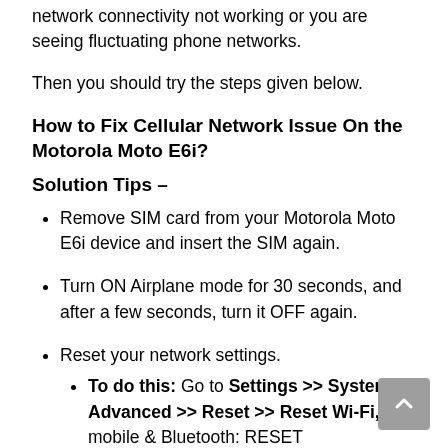network connectivity not working or you are seeing fluctuating phone networks.
Then you should try the steps given below.
How to Fix Cellular Network Issue On the Motorola Moto E6i?
Solution Tips –
Remove SIM card from your Motorola Moto E6i device and insert the SIM again.
Turn ON Airplane mode for 30 seconds, and after a few seconds, turn it OFF again.
Reset your network settings.
To do this: Go to Settings >> System >> Advanced >> Reset >> Reset Wi-Fi, mobile & Bluetooth: RESET